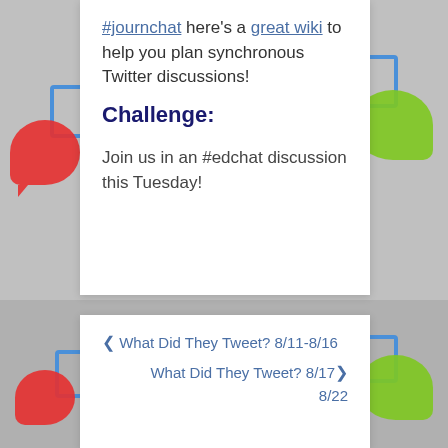#journchat here's a great wiki to help you plan synchronous Twitter discussions!
Challenge:
Join us in an #edchat discussion this Tuesday!
‹ What Did They Tweet? 8/11-8/16
What Did They Tweet? 8/17-8/22 ›